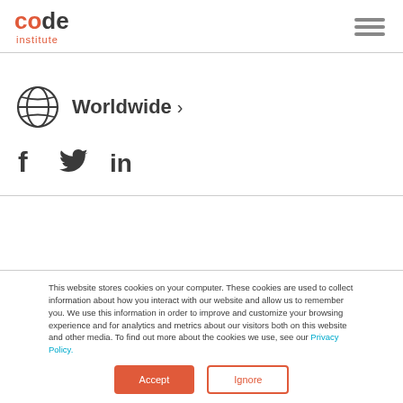Code Institute
[Figure (logo): Code Institute logo with 'code' in dark gray and 'institute' in orange below]
Worldwide >
[Figure (illustration): Social media icons: Facebook (f), Twitter (bird), LinkedIn (in)]
This website stores cookies on your computer. These cookies are used to collect information about how you interact with our website and allow us to remember you. We use this information in order to improve and customize your browsing experience and for analytics and metrics about our visitors both on this website and other media. To find out more about the cookies we use, see our Privacy Policy.